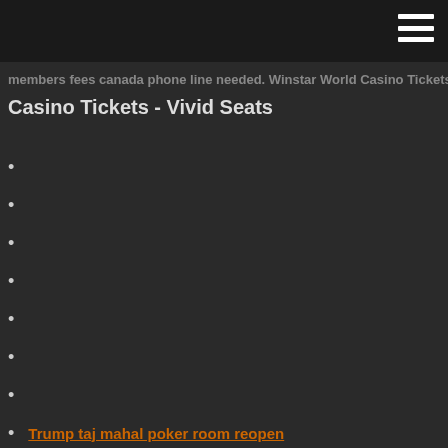members fees canada phone line needed. Winstar World Casino Tickets - Vivid Seats
Trump taj mahal poker room reopen
Which slot machine has the best odds leaf green
Van t slot veetransport elspeet
Closest casino to plano texas
What is on at the casino this weekend